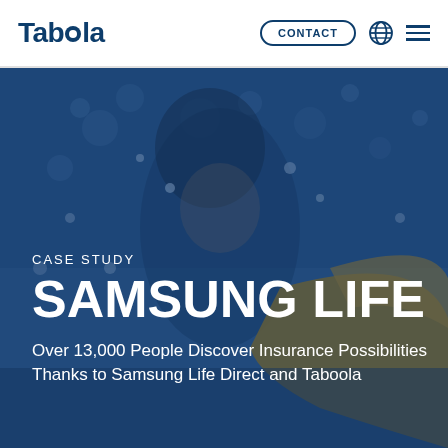Taboola — CONTACT (navigation bar with globe and hamburger menu)
CASE STUDY
SAMSUNG LIFE
Over 13,000 People Discover Insurance Possibilities Thanks to Samsung Life Direct and Taboola
[Figure (photo): Background hero image of a smiling woman with water droplets, overlaid with a dark blue tint. A large yellow/gold curved shape (surfboard or similar) is visible in the lower right.]